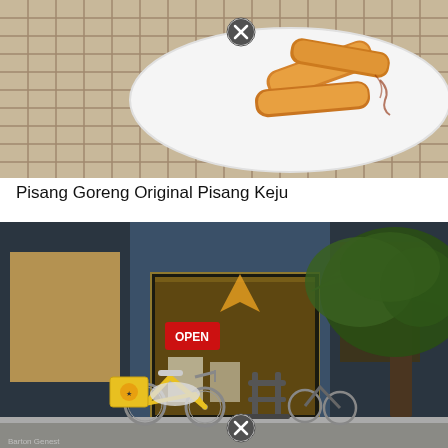[Figure (photo): Close-up photo of fried bananas (pisang goreng) on a white plate placed on a bamboo mat background]
Pisang Goreng Original Pisang Keju
[Figure (photo): Street-level photo of a restaurant storefront with a yellow delivery moped/bicycle parked outside, an 'OPEN' sign visible in the window, and a large tree on the right side of the sidewalk. A photographer credit at the bottom reads 'Barton Genest'.]